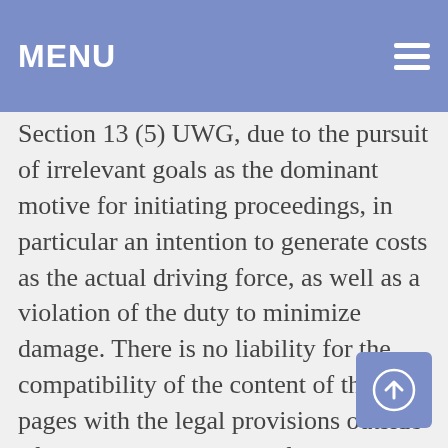MENU
which together, to a fee for the service provider, its representatives, and to his or her manufacturer — will and would therefore constitute a violation of Section 13 (5) UWG, due to the pursuit of irrelevant goals as the dominant motive for initiating proceedings, in particular an intention to generate costs as the actual driving force, as well as a violation of the duty to minimize damage. There is no liability for the compatibility of the content of these pages with the legal provisions outside of the Federal Republic of Germany.
DISCLAIMER
Content of the online offer
The author assumes no liability for the topicality, correctness, completeness or quality of the information provided. Liability claims against the author relating to material or immaterial damage